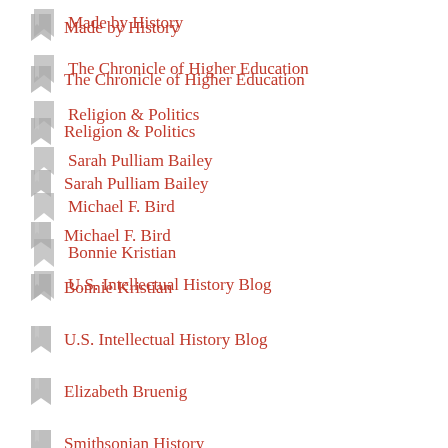Made by History
The Chronicle of Higher Education
Religion & Politics
Sarah Pulliam Bailey
Michael F. Bird
Bonnie Kristian
U.S. Intellectual History Blog
Elizabeth Bruenig
Smithsonian History
Roger Olson
Perspectives Journal
Mere Orthodoxy
Follow Me via Email
Enter your email address to follow this blog and receive notifications of new posts by email.